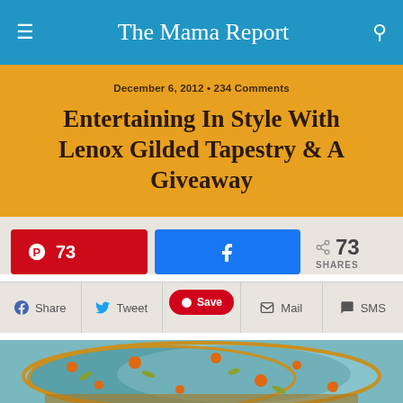The Mama Report
December 6, 2012 • 234 Comments
Entertaining In Style With Lenox Gilded Tapestry & A Giveaway
73 (Pinterest share button) | Facebook share button | 73 SHARES
Share | Tweet | Save | Mail | SMS
[Figure (photo): Decorative floral plates in blue, orange, and gold — Lenox Gilded Tapestry dinnerware]